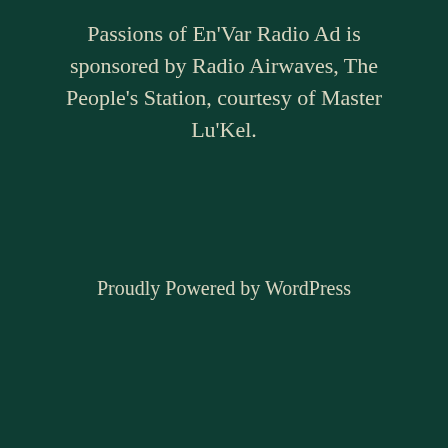Passions of En'Var Radio Ad is sponsored by Radio Airwaves, The People's Station, courtesy of Master Lu'Kel.
Proudly Powered by WordPress